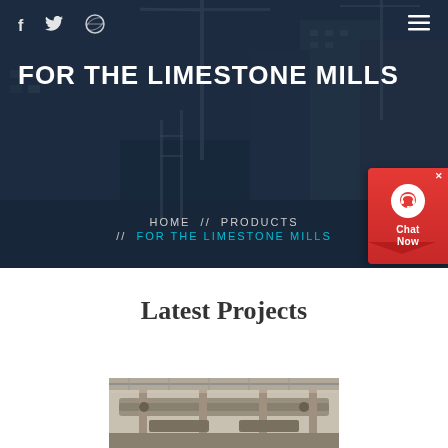[Figure (photo): Hero background: construction site with cranes and tall buildings under dark blue overlay]
f  🐦  ⊕  ≡
FOR THE LIMESTONE MILLS
HOME  //  PRODUCTS  //  FOR THE LIMESTONE MILLS
[Figure (infographic): Chat Now widget: red background with white headset icon and Chat Now text]
Latest Projects
[Figure (photo): Industrial facility interior showing machinery/conveyor systems for limestone mills]